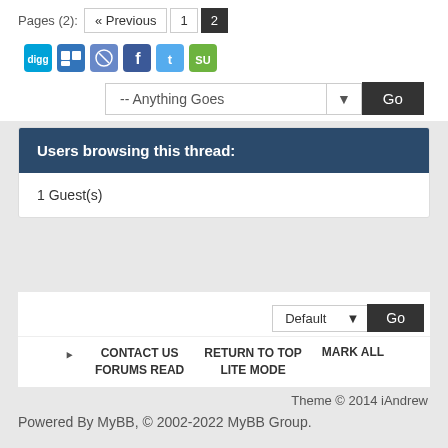Pages (2): « Previous 1 2
[Figure (other): Social sharing icons: Digg, Delicious, Reddit, Facebook, Twitter, StumbleUpon]
-- Anything Goes  Go
Users browsing this thread:
1 Guest(s)
Default  Go
RSS  CONTACT US FORUMS READ  RETURN TO TOP LITE MODE  MARK ALL
Theme © 2014 iAndrew
Powered By MyBB, © 2002-2022 MyBB Group.